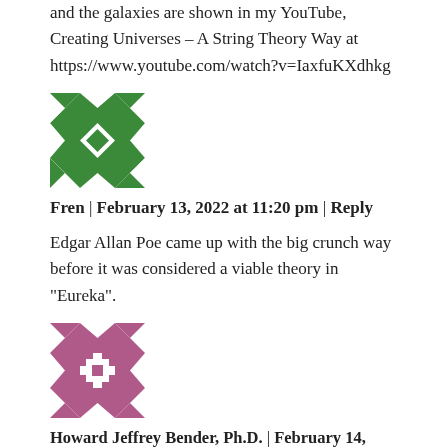and the galaxies are shown in my YouTube, Creating Universes – A String Theory Way at https://www.youtube.com/watch?v=IaxfuKXdhkg
[Figure (illustration): Green geometric avatar icon with cross and diamond quilt pattern]
Fren | February 13, 2022 at 11:20 pm | Reply
Edgar Allan Poe came up with the big crunch way before it was considered a viable theory in “Eureka”.
[Figure (illustration): Purple/mauve geometric avatar icon with cross and square quilt pattern]
Howard Jeffrey Bender, Ph.D. | February 14, 2022